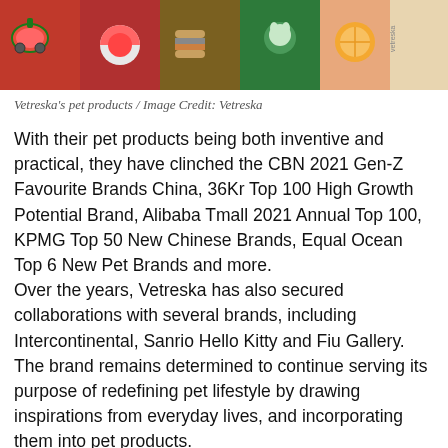[Figure (photo): Vetreska's colorful pet products arranged in a banner, showing various illustrated items on red, brown, green, and orange backgrounds.]
Vetreska's pet products / Image Credit: Vetreska
With their pet products being both inventive and practical, they have clinched the CBN 2021 Gen-Z Favourite Brands China, 36Kr Top 100 High Growth Potential Brand, Alibaba Tmall 2021 Annual Top 100, KPMG Top 50 New Chinese Brands, Equal Ocean Top 6 New Pet Brands and more.
Over the years, Vetreska has also secured collaborations with several brands, including Intercontinental, Sanrio Hello Kitty and Fiu Gallery. The brand remains determined to continue serving its purpose of redefining pet lifestyle by drawing inspirations from everyday lives, and incorporating them into pet products.
They broke even in less